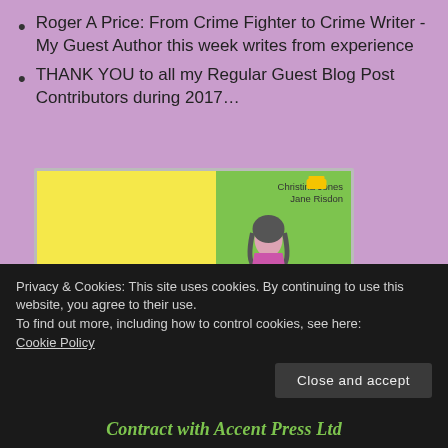Roger A Price: From Crime Fighter to Crime Writer - My Guest Author this week writes from experience
THANK YOU to all my Regular Guest Blog Post Contributors during 2017…
[Figure (illustration): Book cover image for 'Only One Woman' by Christina Jones and Jane Risdon. Yellow background on left with pink italic text 'once I started reading I didn't want to stop'. Green background on right with a woman figure and white italic title 'Only One Woman'.]
Privacy & Cookies: This site uses cookies. By continuing to use this website, you agree to their use.
To find out more, including how to control cookies, see here:
Cookie Policy
Close and accept
Contract with Accent Press Ltd